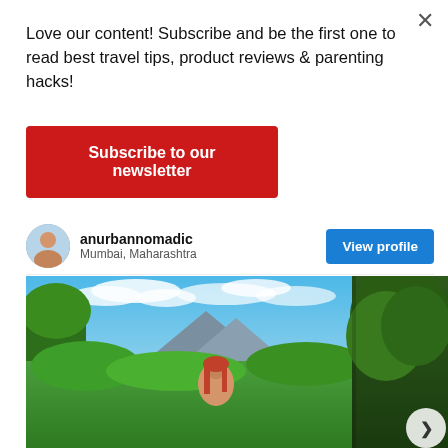Love our content! Subscribe and be the first one to read best travel tips, product reviews & parenting hacks!
Subscribe to our newsletter
anurbannomadic
Mumbai, Maharashtra
View profile
[Figure (photo): A woman with red-tinted hair and sunglasses standing in a lush green field with trees and a blue sky with clouds in the background, and a second photo showing dense green forest/tree canopy on the right side.]